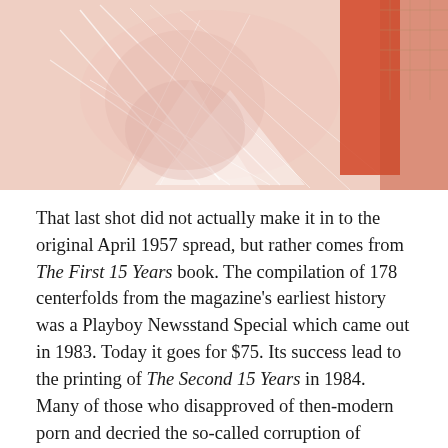[Figure (photo): A faded, washed-out photograph with warm pinkish-red tones showing an abstract or figure composition with geometric shapes and an orange-red vertical element on the right side.]
That last shot did not actually make it in to the original April 1957 spread, but rather comes from The First 15 Years book. The compilation of 178 centerfolds from the magazine's earliest history was a Playboy Newsstand Special which came out in 1983. Today it goes for $75. Its success lead to the printing of The Second 15 Years in 1984. Many of those who disapproved of then-modern porn and decried the so-called corruption of morals during the 70's and 80's were accustomed to hounding Larry